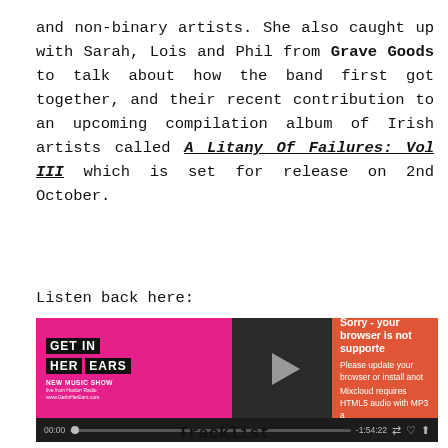and non-binary artists. She also caught up with Sarah, Lois and Phil from Grave Goods to talk about how the band first got together, and their recent contribution to an upcoming compilation album of Irish artists called A Litany Of Failures: Vol III which is set for release on 2nd October.
Listen back here:
[Figure (screenshot): Mixcloud embedded audio player for Get In Her Ears New Music Show. Pink thumbnail on left with black logo blocks spelling GET IN HER EARS, play button in center dark panel, orange error panel on right reading 'Sorry - your browser is not supported. Please update your browser or install another. Mixcloud requires HTML5 audio with MP3.' Progress bar at bottom showing 00:00 and -1:54:22.]
Tracklist